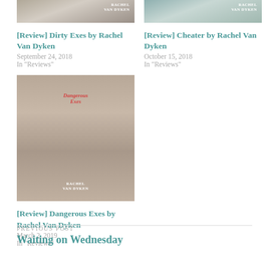[Figure (photo): Book cover photo for Dirty Exes by Rachel Van Dyken]
[Review] Dirty Exes by Rachel Van Dyken
September 24, 2018
In "Reviews"
[Figure (photo): Book cover photo for Cheater by Rachel Van Dyken]
[Review] Cheater by Rachel Van Dyken
October 15, 2018
In "Reviews"
[Figure (photo): Book cover photo for Dangerous Exes by Rachel Van Dyken]
[Review] Dangerous Exes by Rachel Van Dyken
March 2, 2019
In "Reviews"
PREVIOUS POST
Waiting on Wednesday